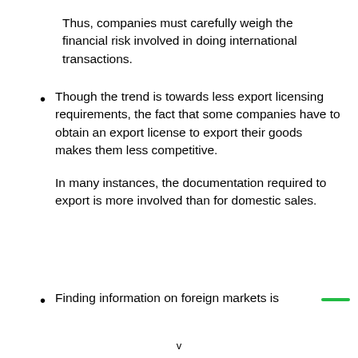Thus, companies must carefully weigh the financial risk involved in doing international transactions.
Though the trend is towards less export licensing requirements, the fact that some companies have to obtain an export license to export their goods makes them less competitive.

In many instances, the documentation required to export is more involved than for domestic sales.
Finding information on foreign markets is